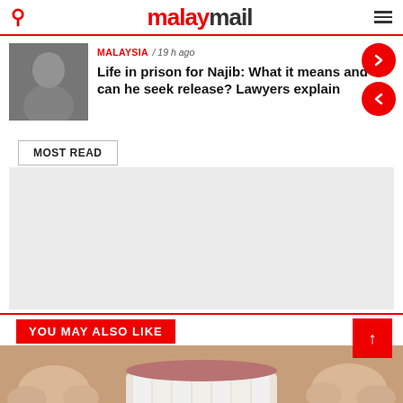malaymail
MALAYSIA / 19 h ago
Life in prison for Najib: What it means and can he seek release? Lawyers explain
MOST READ
[Figure (other): Advertisement placeholder block]
YOU MAY ALSO LIKE
[Figure (photo): Close-up photo of a person's teeth and fingers near mouth]